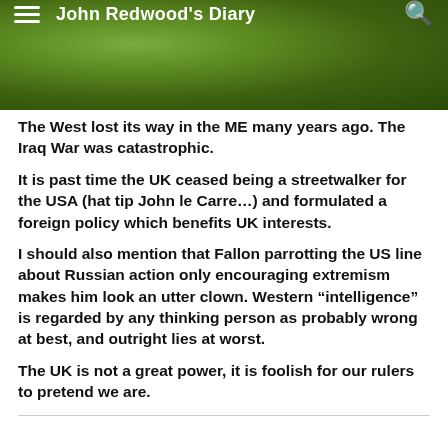John Redwood's Diary
The West lost its way in the ME many years ago. The Iraq War was catastrophic.
It is past time the UK ceased being a streetwalker for the USA (hat tip John le Carre…) and formulated a foreign policy which benefits UK interests.
I should also mention that Fallon parrotting the US line about Russian action only encouraging extremism makes him look an utter clown. Western “intelligence” is regarded by any thinking person as probably wrong at best, and outright lies at worst.
The UK is not a great power, it is foolish for our rulers to pretend we are.